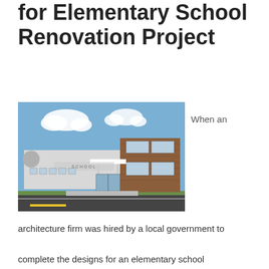for Elementary School Renovation Project
[Figure (photo): Exterior photo of an elementary school building with brick facade, large windows, covered entrance, and parking lot in front under a blue sky with clouds.]
When an architecture firm was hired by a local government to complete the designs for an elementary school renovation, the firm's goals for the project included improving sustainability, reducing the school's